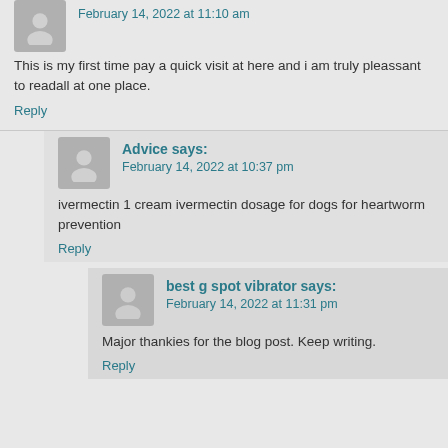February 14, 2022 at 11:10 am
This is my first time pay a quick visit at here and i am truly pleassant to readall at one place.
Reply
Advice says:
February 14, 2022 at 10:37 pm
ivermectin 1 cream ivermectin dosage for dogs for heartworm prevention
Reply
best g spot vibrator says:
February 14, 2022 at 11:31 pm
Major thankies for the blog post. Keep writing.
Reply